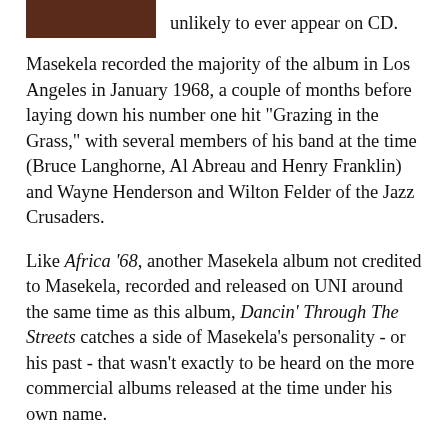[Figure (photo): Partial album cover image, dark brown/maroon colored rectangle at top left]
unlikely to ever appear on CD.
Masekela recorded the majority of the album in Los Angeles in January 1968, a couple of months before laying down his number one hit "Grazing in the Grass," with several members of his band at the time (Bruce Langhorne, Al Abreau and Henry Franklin) and Wayne Henderson and Wilton Felder of the Jazz Crusaders.
Like Africa '68, another Masekela album not credited to Masekela, recorded and released on UNI around the same time as this album, Dancin' Through The Streets catches a side of Masekela's personality - or his past - that wasn't exactly to be heard on the more commercial albums released at the time under his own name.
Oddly, this record gives no musician credits whatsoever other than what Masekela hints at on his sleeve notes, leading one to suspect that the musicians performing the music are very much in Johannesburg, prisoners of Apartheid's terrifying régime: